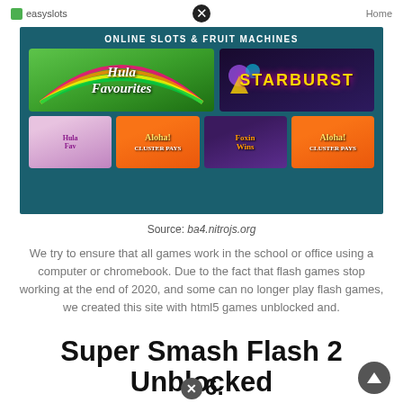easyslots   Home
[Figure (screenshot): Screenshot of easyslots.com showing 'ONLINE SLOTS & FRUIT MACHINES' banner with game thumbnails including Hula Favourites, Starburst, Aloha Cluster Pays, Foxin Wins, and another Aloha variant]
Source: ba4.nitrojs.org
We try to ensure that all games work in the school or office using a computer or chromebook. Due to the fact that flash games stop working at the end of 2020, and some can no longer play flash games, we created this site with html5 games unblocked and.
Super Smash Flash 2 Unblocked 66.